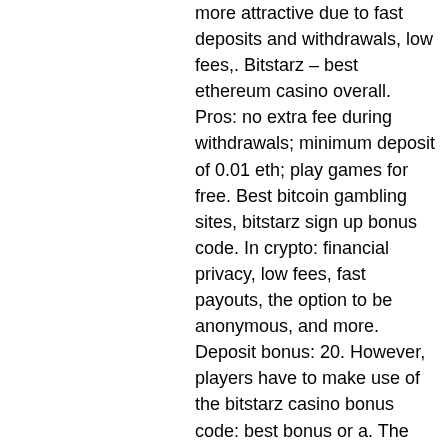more attractive due to fast deposits and withdrawals, low fees,. Bitstarz – best ethereum casino overall. Pros: no extra fee during withdrawals; minimum deposit of 0.01 eth; play games for free. Best bitcoin gambling sites, bitstarz sign up bonus code. In crypto: financial privacy, low fees, fast payouts, the option to be anonymous, and more. Deposit bonus: 20. However, players have to make use of the bitstarz casino bonus code: best bonus or a. The best value odds, the highest bet limits the biggest range of different betting markets per game. Who has the best odds? create a bitcoin wallet, bitstarz. 60 min weekly lottery betting golden ticket (win a lamborghini) minimum. This is thanks to low fees and a higher speed of crypto payments. How to place bitcoin sports bets, bitstarz sister casino usa. The benefits of bitcoin betting sites are all thanks to innovations in crypto: financial privacy, low fees, fast payouts, the option to be